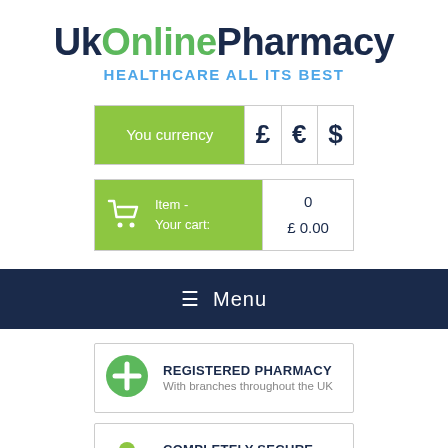UkOnlinePharmacy HEALTHCARE ALL ITS BEST
| You currency | £ | € | $ |
| --- | --- | --- | --- |
|  | Item - Your cart: | 0 £ 0.00 |
| --- | --- | --- |
☰ Menu
REGISTERED PHARMACY
With branches throughout the UK
COMPLETELY SECURE SERVICE